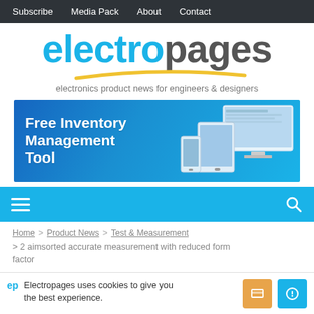Subscribe  Media Pack  About  Contact
[Figure (logo): Electropages logo with blue 'electro' and grey 'pages' text, with yellow swoosh underline, and tagline 'electronics product news for engineers & designers']
[Figure (infographic): Blue banner advertisement for Free Inventory Management Tool showing tablet, phone and desktop screen mockups]
[Figure (screenshot): Cyan/blue navigation bar with hamburger menu icon on left and search icon on right]
Home > Product News > Test & Measurement
Electropages uses cookies to give you the best experience.
> 2 aimsorted accurate measurement with reduced form factor